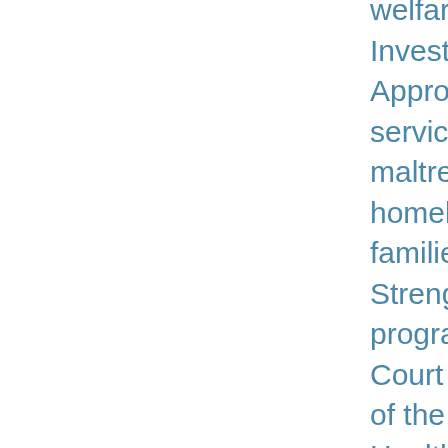welfare system. She has served as Principal Investigator of the Miami Safe Start Promising Approaches site, providing early intervention clinical services for children exposed to violence and maltreatment at community domestic violence and homeless shelters where young children and their families reside. Dr. Katz has coordinated the Strengthening Families and Ages and Stages programs for the Juvenile Court's Dependency Drug Court Initiatives. She was Director of the Miami site of the Florida Infant and Young Children's Mental Health Project, funded by the state legislature through the Florida Department of Children and Families. She was an active collaborative partner in the development of the Miami Juvenile Dependency Court Parenting Initiative. Dr. Katz has served as Co-Chair of the Community-Based Care Alliance of Miami-Dade and Monroe Counties. She is a recipient of the Wall of